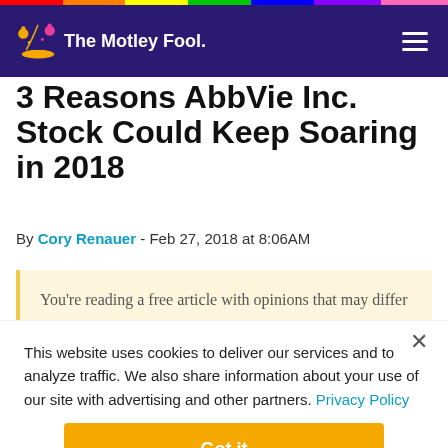The Motley Fool
3 Reasons AbbVie Inc. Stock Could Keep Soaring in 2018
By Cory Renauer - Feb 27, 2018 at 8:06AM
You're reading a free article with opinions that may differ
This website uses cookies to deliver our services and to analyze traffic. We also share information about your use of our site with advertising and other partners. Privacy Policy
Got it
Cookie Settings